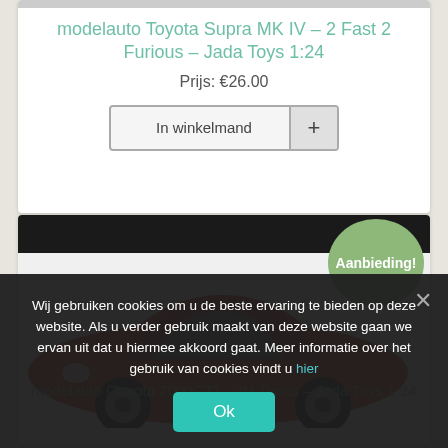modelauto Toyota Supra MK IV - 2 Fast 2 Furious - Jada Toys 1:24
Prijs: €26.00
In winkelmand +
[Figure (photo): Red sports car model (Toyota 2000GT) with Aanbieding! badge]
Wij gebruiken cookies om u de beste ervaring te bieden op deze website. Als u verder gebruik maakt van deze website gaan we ervan uit dat u hiermee akkoord gaat. Meer informatie over het gebruik van cookies vindt u hier
Ok
modelauto (Toyota 2000GT) - JM Times - Jada Toys 1:24